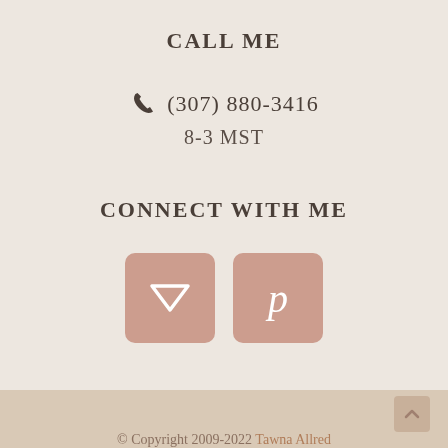CALL ME
(307) 880-3416
8-3 MST
CONNECT WITH ME
[Figure (illustration): Two social media icon buttons with rounded corners on a dusty rose background: a Vuetify/down-arrow triangle icon and a Pinterest 'P' icon]
© Copyright 2009-2022 Tawna Allred